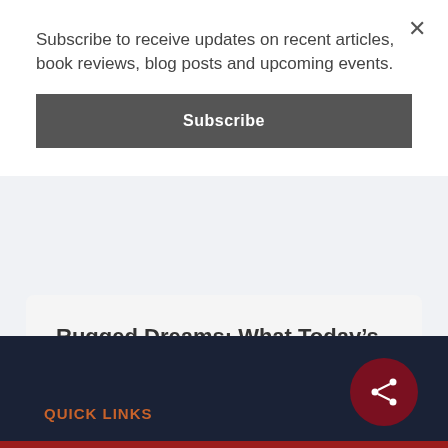Subscribe to receive updates on recent articles, book reviews, blog posts and upcoming events.
Subscribe
Rugged Dreams: What Today’s Students Lack
August 22, 2022
QUICK LINKS